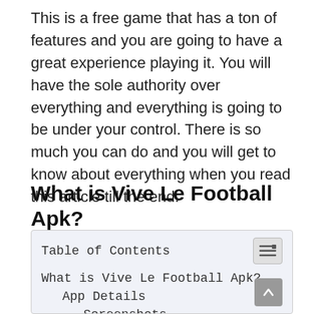This is a free game that has a ton of features and you are going to have a great experience playing it. You will have the sole authority over everything and everything is going to be under your control. There is so much you can do and you will get to know about everything when you read this article till the end.
What is Vive Le Football Apk?
| Table of Contents |
| --- |
| What is Vive Le Football Apk? |
| App Details |
| Screenshots |